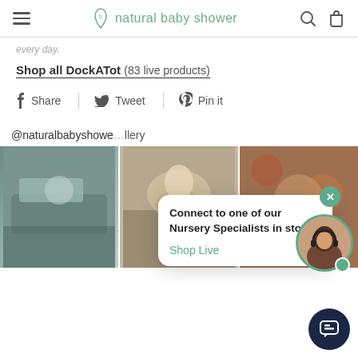natural baby shower
every day.
Shop all DockATot (83 live products)
Share  Tweet  Pin it
@naturalbabyshowe...llery
[Figure (screenshot): Three product/lifestyle photos in a horizontal grid showing baby items and a baby lying on a rug]
Connect to one of our Nursery Specialists in store
Shop Live